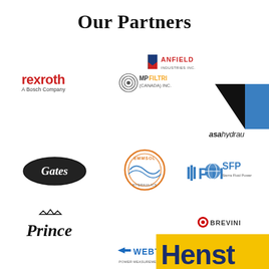Our Partners
[Figure (logo): Anfield Industries Inc. logo]
[Figure (logo): Rexroth - A Bosch Company logo]
[Figure (logo): MP Filtri (Canada) Inc. logo]
[Figure (logo): ASA Hydraulic logo (partially visible)]
[Figure (logo): Gates logo]
[Figure (logo): Emmsol logo]
[Figure (logo): PTI logo]
[Figure (logo): SFP - Sierra Fluid Power logo]
[Figure (logo): Prince logo]
[Figure (logo): Brevini logo]
[Figure (logo): Webtec logo]
[Figure (logo): Henst logo (partially visible, yellow/blue)]